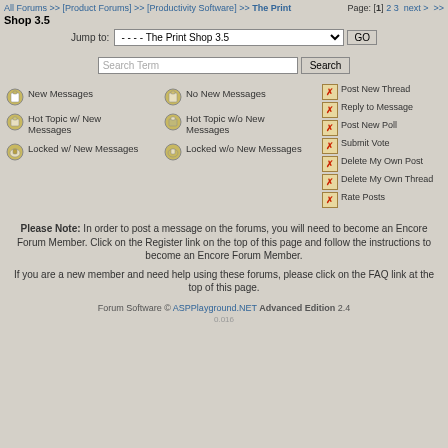All Forums >> [Product Forums] >> [Productivity Software] >> The Print Shop 3.5  Page: [1] 2 3  next >  >>
Shop 3.5
Jump to: - - - - The Print Shop 3.5  GO
Search Term  Search
[Figure (infographic): Forum legend icons: New Messages, No New Messages, Hot Topic w/ New Messages, Hot Topic w/o New Messages, Locked w/ New Messages, Locked w/o New Messages, and rights icons: Post New Thread, Reply to Message, Post New Poll, Submit Vote, Delete My Own Post, Delete My Own Thread, Rate Posts]
Please Note: In order to post a message on the forums, you will need to become an Encore Forum Member. Click on the Register link on the top of this page and follow the instructions to become an Encore Forum Member.
If you are a new member and need help using these forums, please click on the FAQ link at the top of this page.
Forum Software © ASPPlayground.NET Advanced Edition 2.4